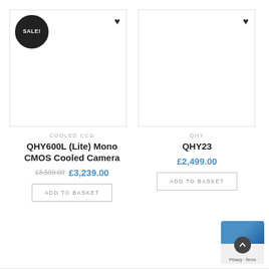[Figure (screenshot): Product card for QHY600L (Lite) Mono CMOS Cooled Camera with SALE badge and heart icon, white image area]
[Figure (screenshot): Product card for QHY23 with heart icon, white image area]
COOLED CCD
QHY600L (Lite) Mono CMOS Cooled Camera
£3,599.00 £3,239.00
ADD TO BASKET
QHY
QHY23
£2,499.00
ADD TO BASKET